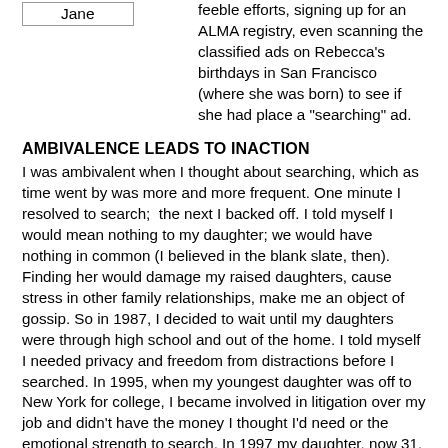[Figure (other): Box labeled 'Jane']
feeble efforts, signing up for an ALMA registry, even scanning the classified ads on Rebecca's birthdays in San Francisco (where she was born) to see if she had place a "searching" ad.
AMBIVALENCE LEADS TO INACTION
I was ambivalent when I thought about searching, which as time went by was more and more frequent. One minute I resolved to search;  the next I backed off. I told myself I would mean nothing to my daughter; we would have nothing in common (I believed in the blank slate, then). Finding her would damage my raised daughters, cause stress in other family relationships, make me an object of gossip. So in 1987, I decided to wait until my daughters were through high school and out of the home. I told myself I needed privacy and freedom from distractions before I searched. In 1995, when my youngest daughter was off to New York for college, I became involved in litigation over my job and didn't have the money I thought I'd need or the emotional strength to search. In 1997 my daughter, now 31, found me after an 11 year search.